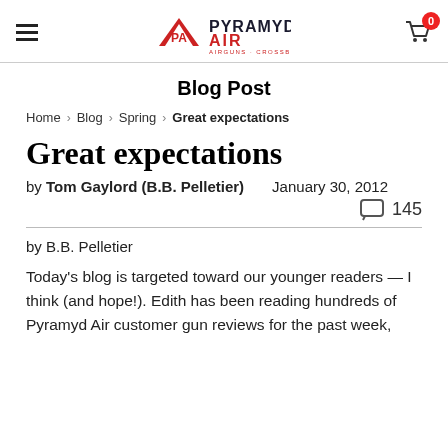Pyramyd Air — Airguns · Crossbows
Blog Post
Home > Blog > Spring > Great expectations
Great expectations
by Tom Gaylord (B.B. Pelletier)   January 30, 2012
💬 145
by B.B. Pelletier
Today's blog is targeted toward our younger readers — I think (and hope!). Edith has been reading hundreds of Pyramyd Air customer gun reviews for the past week,